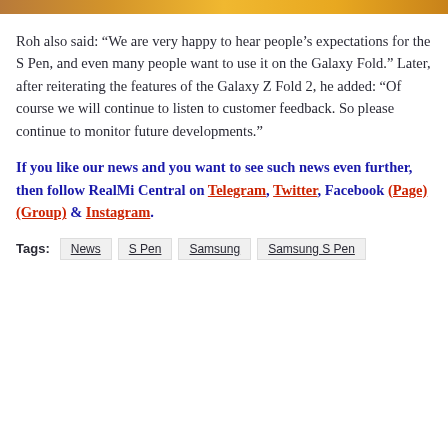[Figure (photo): Partial image strip at the top of the page showing an orange/gold gradient, likely a cropped photo of a device or background.]
Roh also said: “We are very happy to hear people’s expectations for the S Pen, and even many people want to use it on the Galaxy Fold.” Later, after reiterating the features of the Galaxy Z Fold 2, he added: “Of course we will continue to listen to customer feedback. So please continue to monitor future developments.”
If you like our news and you want to see such news even further, then follow RealMi Central on Telegram, Twitter, Facebook (Page) (Group) & Instagram.
Tags: News S Pen Samsung Samsung S Pen